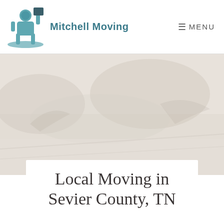Mitchell Moving
[Figure (illustration): Mitchell Moving logo: a teal figure carrying a box on a stylized teal base/landscape]
MENU
[Figure (photo): Faded background hero image showing a natural outdoor/forest scene in muted light beige and gray tones]
Local Moving in Sevier County, TN